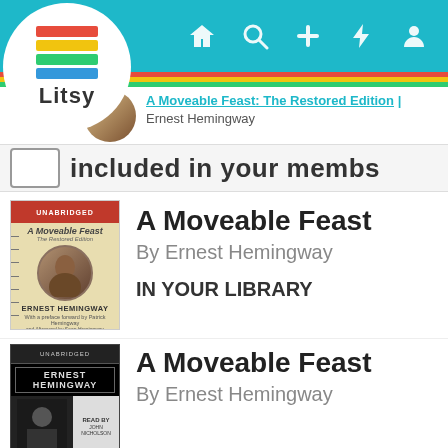[Figure (screenshot): Litsy app logo: stacked colorful books with text 'Litsy' below, in a white circle]
Litsy app navigation bar with home, search, add, activity, and profile icons
A Moveable Feast: The Restored Edition | Ernest Hemingway
included in your membs
[Figure (photo): Audiobook cover of A Moveable Feast by Ernest Hemingway - yellow/cream cover with red top bar and circular portrait photo of young Hemingway]
A Moveable Feast
By Ernest Hemingway
IN YOUR LIBRARY
[Figure (photo): Second audiobook cover of A Moveable Feast by Ernest Hemingway - black and white cover with 'ERNEST HEMINGWAY' in bold text and black-and-white photo]
A Moveable Feast
By Ernest Hemingway